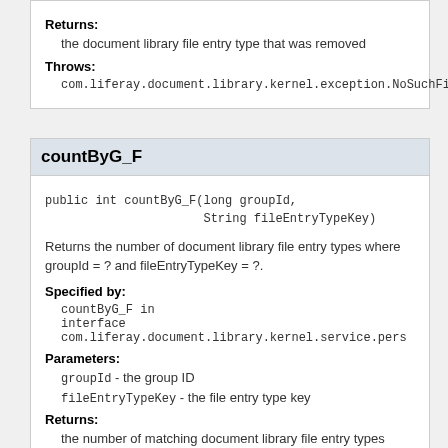Returns:
the document library file entry type that was removed
Throws:
com.liferay.document.library.kernel.exception.NoSuchFil
countByG_F
public int countByG_F(long groupId,
                      String fileEntryTypeKey)
Returns the number of document library file entry types where groupId = ? and fileEntryTypeKey = ?.
Specified by:
countByG_F in
interface com.liferay.document.library.kernel.service.pers
Parameters:
groupId - the group ID
fileEntryTypeKey - the file entry type key
Returns:
the number of matching document library file entry types